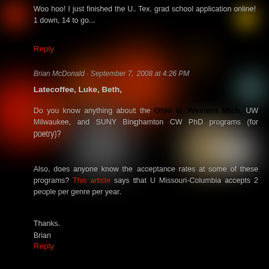Woo hoo! I just finished the U. Tex. grad school application online! 1 down, 14 to go...
Reply
Brian McDonald · September 7, 2008 at 4:26 PM
Latecoffee, Luke, Beth,
Do you know anything about the Ohio U, Western Mich, UW Milwaukee, and SUNY Binghamton CW PhD programs (for poetry)?
Also, does anyone know the acceptance rates at some of these programs? This article says that U Missouri-Columbia accepts 2 people per genre per year.
Thanks.
Brian
Reply